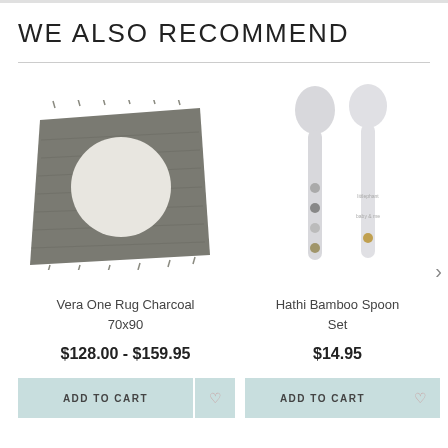WE ALSO RECOMMEND
[Figure (photo): Gray charcoal woven rug with white oval/circle in center]
Vera One Rug Charcoal 70x90
$128.00 - $159.95
ADD TO CART
[Figure (photo): Two light gray/white bamboo baby spoons with small graphic motifs]
Hathi Bamboo Spoon Set
$14.95
ADD TO CART